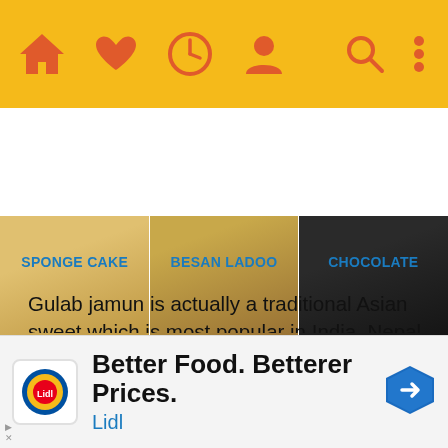[Figure (screenshot): Mobile app navigation bar with home, heart, clock, and person icons on golden/yellow background, with search and menu icons on the right]
[Figure (photo): Three food images side by side: Sponge Cake, Besan Ladoo, and Chocolate]
SPONGE CAKE    BESAN LADOO    CHOCOLATE
Gulab jamun is actually a traditional Asian sweet which is most popular in India, Nepal, Bangladesh, Pakistan and Sri Lanka. It's there at each and every marriage, celebration, birthday and festivals. In brief when you organize any Indian celebration and decide to keep only one sweet, the chances are it's to be gulab jamun! This lip smacking Gulab
[Figure (screenshot): Advertisement banner for Lidl: Better Food. Betterer Prices. Lidl logo and navigation arrow icon.]